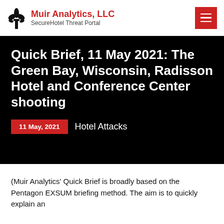Muir Analytics, LLC — SecureHotel Threat Portal
Quick Brief, 11 May 2021: The Green Bay, Wisconsin, Radisson Hotel and Conference Center shooting
11 May, 2021   Hotel Attacks
(Muir Analytics' Quick Brief is broadly based on the Pentagon EXSUM briefing method. The aim is to quickly explain an